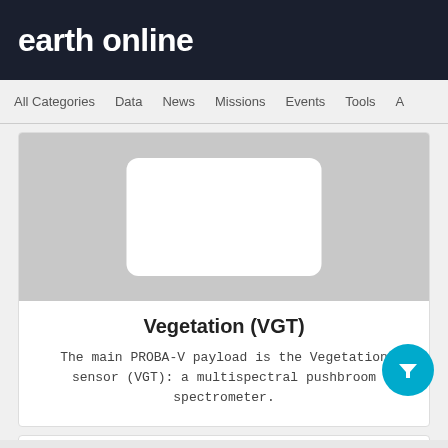earth online
All Categories   Data   News   Missions   Events   Tools
[Figure (illustration): Gray image placeholder with a white rounded rectangle in the center, representing a mission/instrument image card]
Vegetation (VGT)
The main PROBA-V payload is the Vegetation sensor (VGT): a multispectral pushbroom spectrometer.
Instrument - Imaging Spectrometers/Radiometers